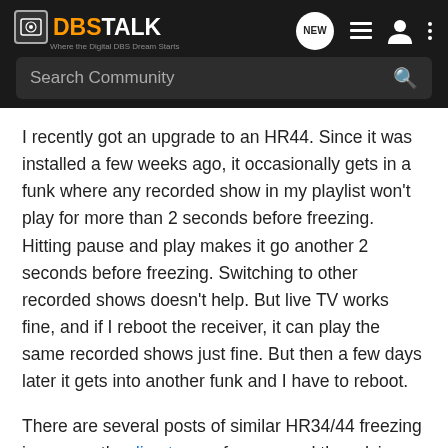DBSTALK - Where the Digital DBS Dream Starts
I recently got an upgrade to an HR44. Since it was installed a few weeks ago, it occasionally gets in a funk where any recorded show in my playlist won't play for more than 2 seconds before freezing. Hitting pause and play makes it go another 2 seconds before freezing. Switching to other recorded shows doesn't help. But live TV works fine, and if I reboot the receiver, it can play the same recorded shows just fine. But then a few days later it gets into another funk and I have to reboot.
There are several posts of similar HR34/44 freezing issues on the directv.com forums, and the advice usually given is to run the hard drive tests from the boot diagnostic menu. I did that and all the tests pass except the surface test, which gets 0.02%